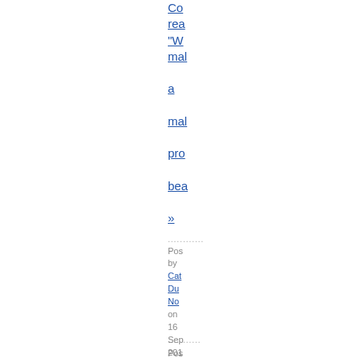Co
rea
"W
mal
a
mal
pro
bea
»
.........
Posted by
Cathy Dun Nov
on 16 Sep 2011 at 02:
in
Cathy Dun Nov Ma
|
Permalink
|
Comments (2)